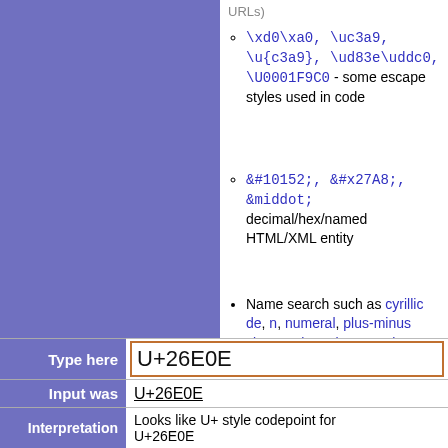\xd0\xa0, \uc3a9, \u{c3a9}, \ud83e\uddc0, \U0001F9C0 - some escape styles used in code
&#10152;, &#x27A8;, &middot; decimal/hex/named HTML/XML entity
Name search such as cyrillic de, n, numeral, plus-minus sign, exclamation question, arrow right, hieroglyph. Includes entity names like middot and Ntilde, and some of my own fuzziness, also to help find confusables.
| Label | Value |
| --- | --- |
| Type here | U+26E0E |
| Input was | U+26E0E |
| Interpretation | Looks like U+ style codepoint for U+26E0E |